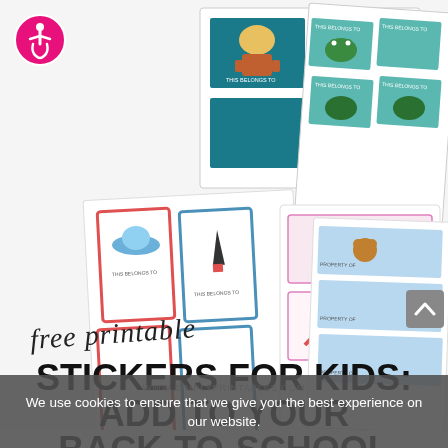[Figure (illustration): Collage of colorful printable sticker sheets for kids, featuring robot stickers, frog stickers, space/UFO stickers, rainbow stickers, butterfly stickers, and teddy bear stickers, arranged overlapping on a white background]
[Figure (logo): Accessibility icon: pink circle with white wheelchair person symbol]
free printable
STICKERS FOR KIDS: ADD TO YOUR BACK-TO-SCHOOL SUPPLIES
We use cookies to ensure that we give you the best experience on our website.
WWW.SIMPLYPRINTABLES.COM